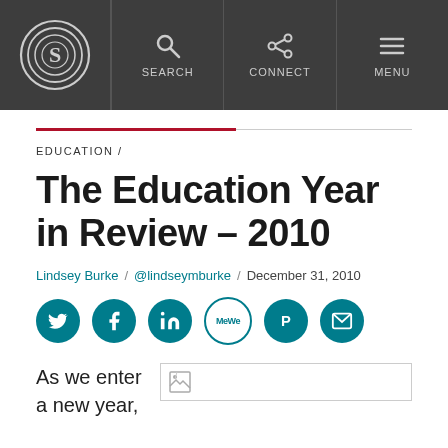SEARCH / CONNECT / MENU
EDUCATION /
The Education Year in Review – 2010
Lindsey Burke / @lindseymburke / December 31, 2010
[Figure (other): Social share icons row: Twitter, Facebook, LinkedIn, MeWe, Parler, Email]
As we enter a new year,
[Figure (photo): Article image (broken/loading image placeholder)]